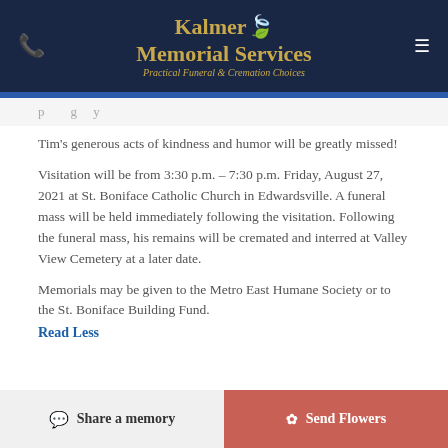Kalmer Memorial Services — Practical Funeral & Cremation Choices
Tim's generous acts of kindness and humor will be greatly missed!
Visitation will be from 3:30 p.m. – 7:30 p.m. Friday, August 27, 2021 at St. Boniface Catholic Church in Edwardsville. A funeral mass will be held immediately following the visitation. Following the funeral mass, his remains will be cremated and interred at Valley View Cemetery at a later date.
Memorials may be given to the Metro East Humane Society or to the St. Boniface Building Fund.
Read Less
To send flowers to the family or plant a tree in memory
Share a memory | Send Flowers